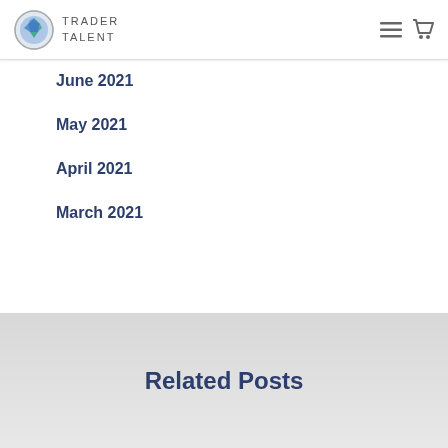TRADER TALENT
June 2021
May 2021
April 2021
March 2021
Related Posts